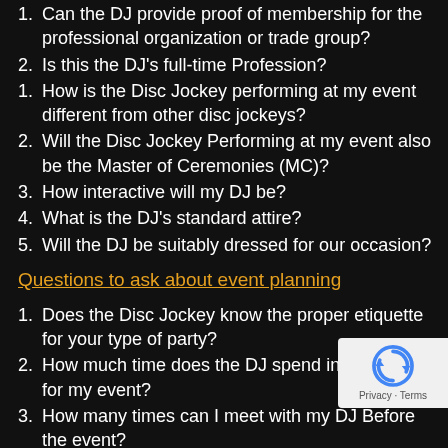6. Can the DJ provide proof of membership for the professional organization or trade group?
7. Is this the DJ's full-time Profession?
8. How is the Disc Jockey performing at my event different from other disc jockeys?
9. Will the Disc Jockey Performing at my event also be the Master of Ceremonies (MC)?
10. How interactive will my DJ be?
11. What is the DJ's standard attire?
12. Will the DJ be suitably dressed for our occasion?
Questions to ask about event planning
1. Does the Disc Jockey know the proper etiquette for your type of party?
2. How much time does the DJ spend in preparation for my event?
3. How many times can I meet with my DJ Before the event?
4. Will the DJ work well with the other professional vendors at my event?
5. How much time does the DJ require for the set-up and tear down of the equipment?
6. Does the DJ have a detailed planner, with checklists for